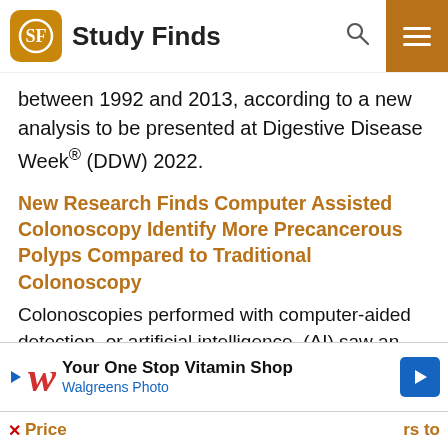Study Finds
between 1992 and 2013, according to a new analysis to be presented at Digestive Disease Week® (DDW) 2022.
New Research Finds Computer Assisted Colonoscopy Identify More Precancerous Polyps Compared to Traditional Colonoscopy
Colonoscopies performed with computer-aided detection, or artificial intelligence, (AI) saw an increase in the overall rate of detection of adenoma, or cancerous and precancerous polyps, by 27 percent in average-risk patients, according to new data presented today at the Digestive Disease Week Annual Meeting.
[Figure (screenshot): Walgreens advertisement banner: 'Your One Stop Vitamin Shop' with Walgreens Photo logo and navigation arrow icon]
Price